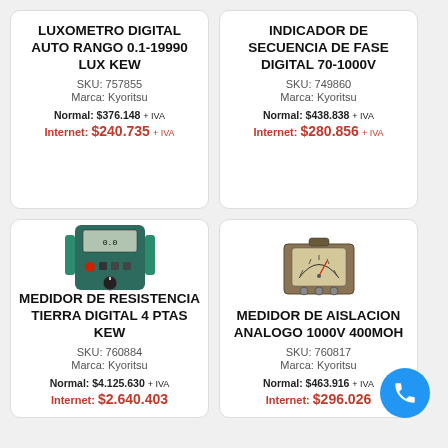LUXOMETRO DIGITAL AUTO RANGO 0.1-19990 LUX KEW
SKU: 757855
Marca: Kyoritsu
Normal: $376.148 + IVA
Internet: $240.735 + IVA
INDICADOR DE SECUENCIA DE FASE DIGITAL 70-1000V
SKU: 749860
Marca: Kyoritsu
Normal: $438.838 + IVA
Internet: $280.856 + IVA
[Figure (photo): Digital earth resistance tester device, dark colored with display and controls]
MEDIDOR DE RESISTENCIA TIERRA DIGITAL 4 PTAS KEW
SKU: 760884
Marca: Kyoritsu
Normal: $4.125.630 + IVA
Internet: $2.640.403
[Figure (photo): Analog insulation tester device in carrying case]
MEDIDOR DE AISLACION ANALOGO 1000V 400MOH
SKU: 760817
Marca: Kyoritsu
Normal: $463.916 + IVA
Internet: $296.026